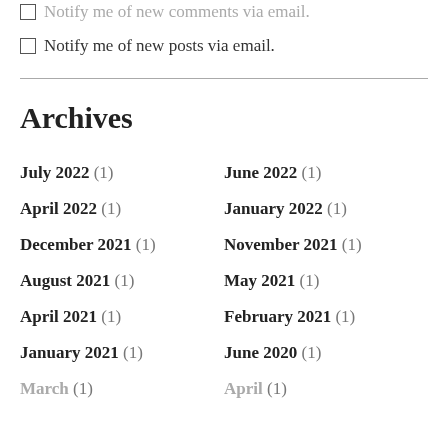Notify me of new comments via email.
Notify me of new posts via email.
Archives
July 2022 (1)
June 2022 (1)
April 2022 (1)
January 2022 (1)
December 2021 (1)
November 2021 (1)
August 2021 (1)
May 2021 (1)
April 2021 (1)
February 2021 (1)
January 2021 (1)
June 2020 (1)
March ... (1)
April ... (1)